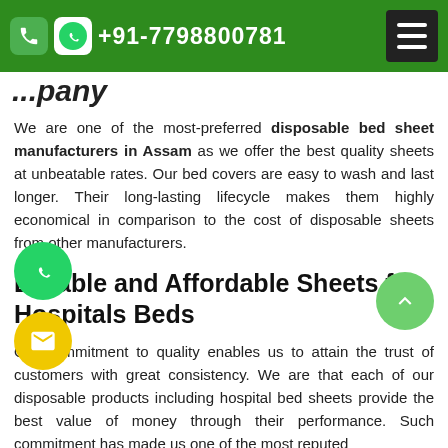+91-7798800781
We are one of the most-preferred disposable bed sheet manufacturers in Assam as we offer the best quality sheets at unbeatable rates. Our bed covers are easy to wash and last longer. Their long-lasting lifecycle makes them highly economical in comparison to the cost of disposable sheets from other manufacturers.
Durable and Affordable Sheets for Hospitals Beds
Our commitment to quality enables us to attain the trust of customers with great consistency. We are that each of our disposable products including hospital bed sheets provide the best value of money through their performance. Such commitment has made us one of the most reputed